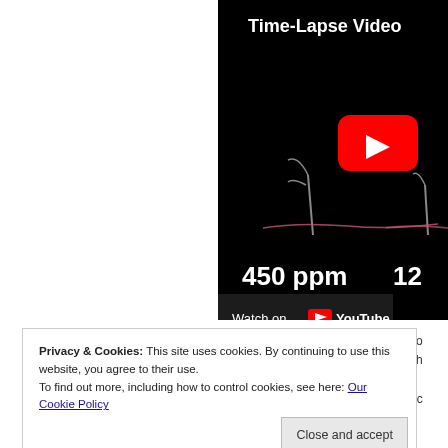[Figure (screenshot): YouTube embedded video thumbnail showing a time-lapse video of plant seedlings growing in different CO2 concentrations (450 ppm and 12__ ppm), with a YouTube play button overlay and a 'Watch on YouTube' bar at the bottom.]
Privacy & Cookies: This site uses cookies. By continuing to use this website, you agree to their use.
To find out more, including how to control cookies, see here: Our Cookie Policy
Close and accept